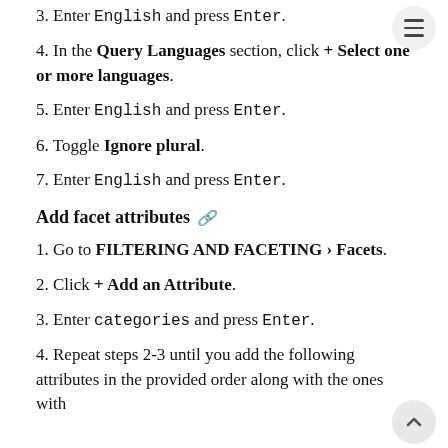3. Enter English and press Enter.
4. In the Query Languages section, click + Select one or more languages.
5. Enter English and press Enter.
6. Toggle Ignore plural.
7. Enter English and press Enter.
Add facet attributes
1. Go to FILTERING AND FACETING > Facets.
2. Click + Add an Attribute.
3. Enter categories and press Enter.
4. Repeat steps 2-3 until you add the following attributes in the provided order along with the ones with